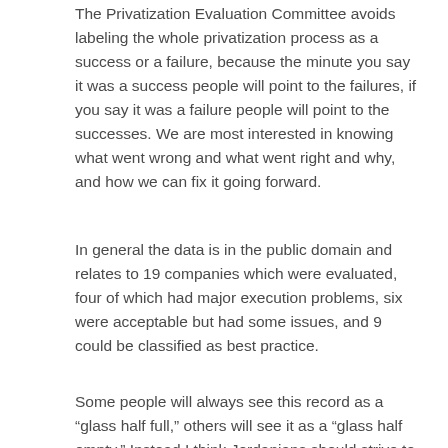The Privatization Evaluation Committee avoids labeling the whole privatization process as a success or a failure, because the minute you say it was a success people will point to the failures, if you say it was a failure people will point to the successes. We are most interested in knowing what went wrong and what went right and why, and how we can fix it going forward.
In general the data is in the public domain and relates to 19 companies which were evaluated, four of which had major execution problems, six were acceptable but had some issues, and 9 could be classified as best practice.
Some people will always see this record as a “glass half full,” others will see it as a “glass half empty.” Instead I think Jordanians should strive to “fill the glass up,” i.e. to learn